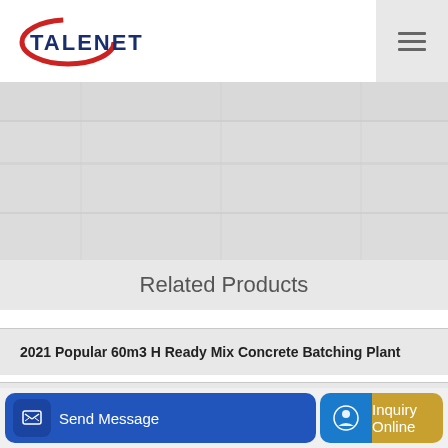TALENET
[Figure (photo): Hero background image showing concrete/stone texture in light gray tones]
Related Products
2021 Popular 60m3 H Ready Mix Concrete Batching Plant
Concrete Boom Pump Export Statistics of Turkey Concrete
Send Message | Inquiry Online